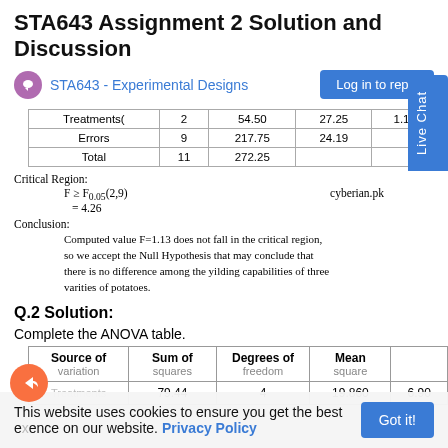STA643 Assignment 2 Solution and Discussion
STA643 - Experimental Designs
|  |  |  |  |  |
| --- | --- | --- | --- | --- |
| Treatments( | 2 | 54.50 | 27.25 | 1.13 |
| Errors | 9 | 217.75 | 24.19 |  |
| Total | 11 | 272.25 |  |  |
Critical Region:
cyberian.pk
Conclusion:
Computed value F=1.13 does not fall in the critical region, so we accept the Null Hypothesis that may conclude that there is no difference among the yilding capabilities of three varities of potatoes.
Q.2 Solution:
Complete the ANOVA table.
| Source of variation | Sum of squares | Degrees of freedom | Mean square |  |
| --- | --- | --- | --- | --- |
| Treatments | 79.44 | 4 | 19.860 | 6.90 |